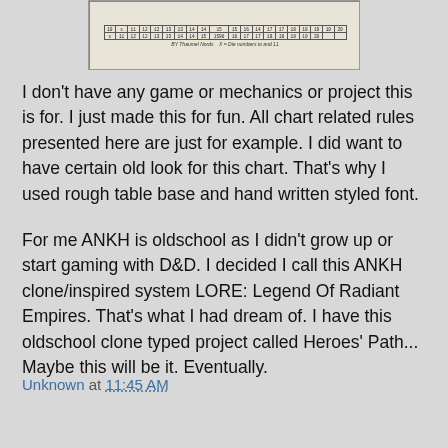[Figure (table-as-image): A hand-drawn style numerical table/chart with grid lines, numbers, and a caption reading 'X = Die numbers to and 11' attributed to 'BY Thaumel Nords']
I don't have any game or mechanics or project this is for. I just made this for fun. All chart related rules presented here are just for example. I did want to have certain old look for this chart. That's why I used rough table base and hand written styled font.
For me ANKH is oldschool as I didn't grow up or start gaming with D&D. I decided I call this ANKH clone/inspired system LORE: Legend Of Radiant Empires. That's what I had dream of. I have this oldschool clone typed project called Heroes' Path... Maybe this will be it. Eventually.
Unknown at 11:45 AM
Share